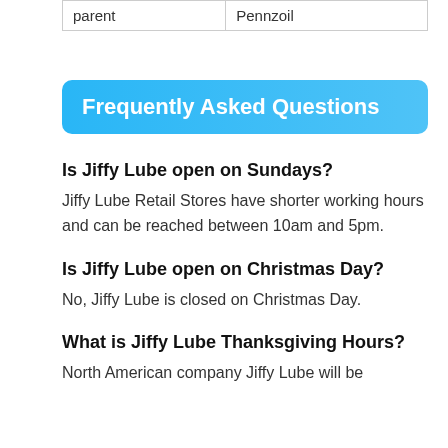| parent | Pennzoil |
Frequently Asked Questions
Is Jiffy Lube open on Sundays?
Jiffy Lube Retail Stores have shorter working hours and can be reached between 10am and 5pm.
Is Jiffy Lube open on Christmas Day?
No, Jiffy Lube is closed on Christmas Day.
What is Jiffy Lube Thanksgiving Hours?
North American company Jiffy Lube will be